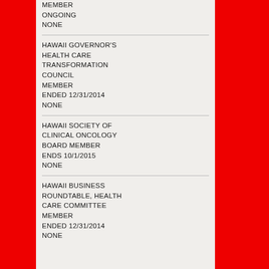MEMBER
ONGOING
NONE
HAWAII GOVERNOR'S HEALTH CARE TRANSFORMATION COUNCIL
MEMBER
ENDED 12/31/2014
NONE
HAWAII SOCIETY OF CLINICAL ONCOLOGY
BOARD MEMBER
ENDS 10/1/2015
NONE
HAWAII BUSINESS ROUNDTABLE, HEALTH CARE COMMITTEE
MEMBER
ENDED 12/31/2014
NONE